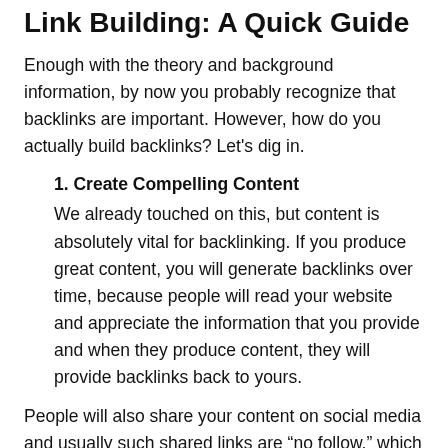Link Building: A Quick Guide
Enough with the theory and background information, by now you probably recognize that backlinks are important. However, how do you actually build backlinks? Let's dig in.
1. Create Compelling Content
We already touched on this, but content is absolutely vital for backlinking. If you produce great content, you will generate backlinks over time, because people will read your website and appreciate the information that you provide and when they produce content, they will provide backlinks back to yours.
People will also share your content on social media and usually such shared links are “no follow,” which signifies to the bot not to count the link as a backlink, but it still counts as relevancy and...